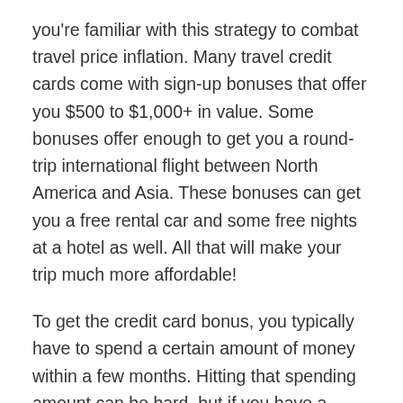you're familiar with this strategy to combat travel price inflation. Many travel credit cards come with sign-up bonuses that offer you $500 to $1,000+ in value. Some bonuses offer enough to get you a round-trip international flight between North America and Asia. These bonuses can get you a free rental car and some free nights at a hotel as well. All that will make your trip much more affordable!
To get the credit card bonus, you typically have to spend a certain amount of money within a few months. Hitting that spending amount can be hard, but if you have a major expense coming soon, like a medical bill, tuition payment, or home repair, you can swipe the card to reach that threshold. Just remember: Be responsible with how you use the credit card. Don't spend unnecessarily and